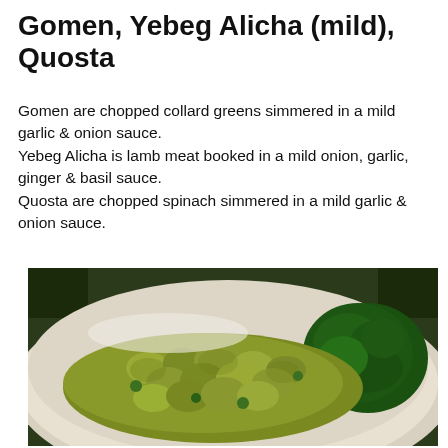Gomen, Yebeg Alicha (mild), Quosta
Gomen are chopped collard greens simmered in a mild garlic & onion sauce.
Yebeg Alicha is lamb meat booked in a mild onion, garlic, ginger & basil sauce.
Quosta are chopped spinach simmered in a mild garlic & onion sauce.
[Figure (photo): A close-up photo of Ethiopian dishes on a white plate: Yebeg Alicha (mild lamb stew pieces coated in green/yellow sauce) in the center and chopped dark green Gomen or Quosta on the right side.]